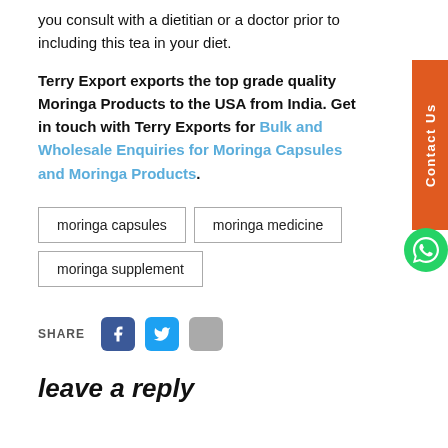you consult with a dietitian or a doctor prior to including this tea in your diet.
Terry Export exports the top grade quality Moringa Products to the USA from India. Get in touch with Terry Exports for Bulk and Wholesale Enquiries for Moringa Capsules and Moringa Products.
moringa capsules
moringa medicine
moringa supplement
SHARE
leave a reply